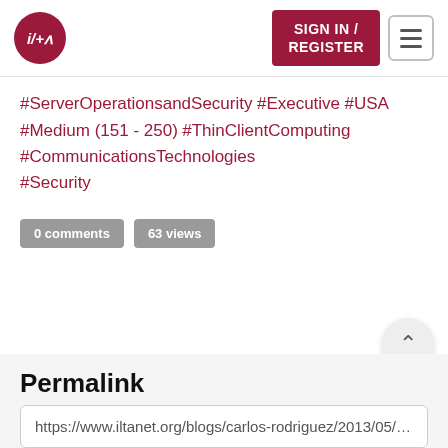i/+a | SIGN IN / REGISTER
#ServerOperationsandSecurity #Executive #USA #Medium (151 - 250) #ThinClientComputing #CommunicationsTechnologies #Security
0 comments   63 views
Permalink
https://www.iltanet.org/blogs/carlos-rodriguez/2013/05/02/s...